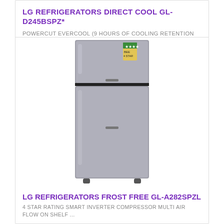LG REFRIGERATORS DIRECT COOL GL-D245BSPZ*
POWERCUT EVERCOOL (9 HOURS OF COOLING RETENTION IN REFRIGERATOR SECTION) FASTEST IN ..
₹22,290.00
[Figure (screenshot): Action bar with cart icon, heart/wishlist icon, and compare icon on grey background]
[Figure (photo): LG double-door frost-free refrigerator in steel/silver color with energy rating sticker on top right door]
LG REFRIGERATORS FROST FREE GL-A282SPZL
4 STAR RATING SMART INVERTER COMPRESSOR MULTI AIR FLOW ON SHELF ...